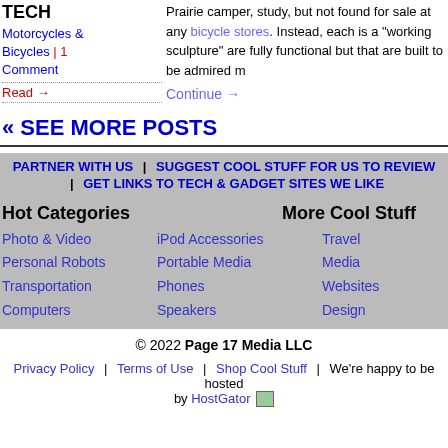TECH
Motorcycles & Bicycles | 1 Comment
Read →
bicycle stores. Instead, each is a "working sculpture" are fully functional but that are built to be admired m
Continue →
« SEE MORE POSTS
PARTNER WITH US | SUGGEST COOL STUFF FOR US TO REVIEW | GET LINKS TO TECH & GADGET SITES WE LIKE
Hot Categories
More Cool Stuff
Photo & Video
Personal Robots
Transportation
Computers
iPod Accessories
Portable Media
Phones
Speakers
Travel
Media
Websites
Design
© 2022 Page 17 Media LLC
Privacy Policy | Terms of Use | Shop Cool Stuff | We're happy to be hosted by HostGator